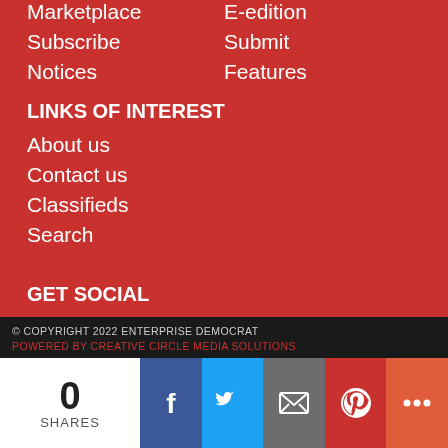Marketplace
Subscribe
Notices
E-edition
Submit
Features
LINKS OF INTEREST
About us
Contact us
Classifieds
Search
GET SOCIAL
[Figure (illustration): Facebook and Twitter social media icons in white]
© COPYRIGHT 2022 ENTERPRISE DEMOCRAT
POWERED BY CREATIVE CIRCLE MEDIA SOLUTIONS
0 SHARES
[Figure (illustration): Social share bar with Facebook, Twitter, Email, Pinterest, and More buttons]